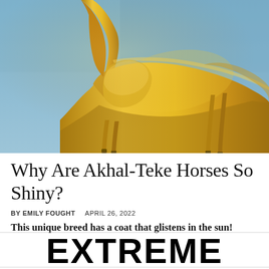[Figure (photo): Golden/bronze Akhal-Teke horse statue or real horse with metallic golden coat against a blue sky background. The horse stands in profile showing its sleek, shiny body.]
Why Are Akhal-Teke Horses So Shiny?
BY EMILY FOUGHT   APRIL 26, 2022
This unique breed has a coat that glistens in the sun!
[Figure (logo): EXTREME logo in large black bold letters at the bottom of the page]